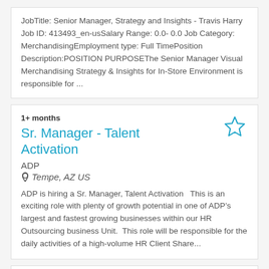JobTitle: Senior Manager, Strategy and Insights - Travis Harry Job ID: 413493_en-usSalary Range: 0.0- 0.0 Job Category: MerchandisingEmployment type: Full TimePosition Description:POSITION PURPOSEThe Senior Manager Visual Merchandising Strategy & Insights for In-Store Environment is responsible for ...
1+ months
Sr. Manager - Talent Activation
ADP
Tempe, AZ US
ADP is hiring a Sr. Manager, Talent Activation   This is an exciting role with plenty of growth potential in one of ADP&rsquo;s largest and fastest growing businesses within our HR Outsourcing business Unit.  This role will be responsible for the daily activities of a high-volume HR Client Share...